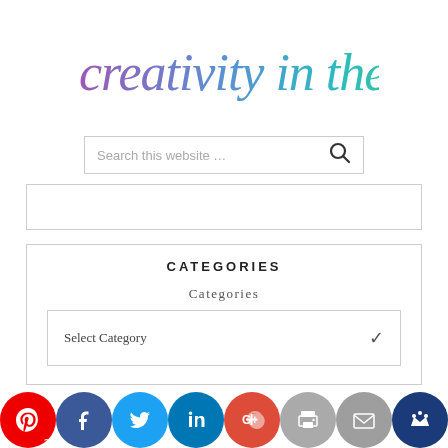[Figure (logo): Creativity in Therapy script logo in watercolor purple to teal to green gradient]
[Figure (screenshot): Search bar with placeholder text 'Search this website ...' and a magnifying glass icon]
[Figure (other): Empty banner/advertisement strip with border]
CATEGORIES
Categories
Select Category
[Figure (other): Social media share buttons row: Pinterest, Facebook, Twitter, LinkedIn, Google+, Print, Email, Crown/Bloglovin]